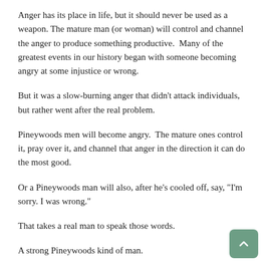Anger has its place in life, but it should never be used as a weapon. The mature man (or woman) will control and channel the anger to produce something productive.  Many of the greatest events in our history began with someone becoming angry at some injustice or wrong.
But it was a slow-burning anger that didn’t attack individuals, but rather went after the real problem.
Pineywoods men will become angry.  The mature ones control it, pray over it, and channel that anger in the direction it can do the most good.
Or a Pineywoods man will also, after he’s cooled off, say, “I’m sorry. I was wrong.”
That takes a real man to speak those words.
A strong Pineywoods kind of man.
“Am I the kind of man